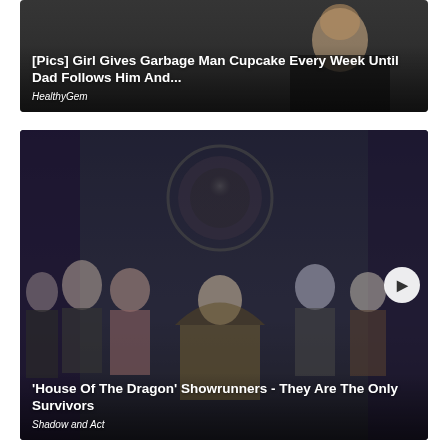[Figure (photo): Photo of a girl and a garbage man, used as thumbnail for article]
[Pics] Girl Gives Garbage Man Cupcake Every Week Until Dad Follows Him And...
HealthyGem
[Figure (photo): House of the Dragon cast photo with characters in medieval fantasy costumes seated and standing around a throne]
'House Of The Dragon' Showrunners - They Are The Only Survivors
Shadow and Act